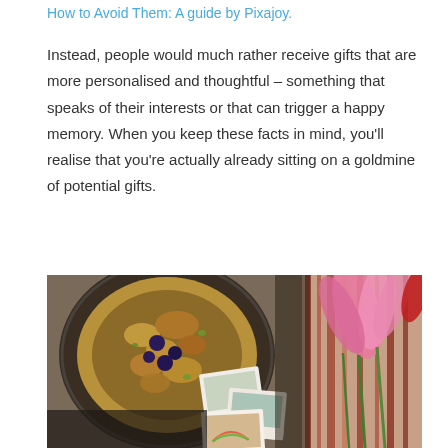How to Avoid Them: A guide by Pixajoy.
Instead, people would much rather receive gifts that are more personalised and thoughtful – something that speaks of their interests or that can trigger a happy memory. When you keep these facts in mind, you'll realise that you're actually already sitting on a goldmine of potential gifts.
[Figure (photo): Overhead photo collage showing a bowl of granola with blueberries on the left, scattered polaroid-style photos in the center, and pink tulips/flowers with striped fabric on the right.]